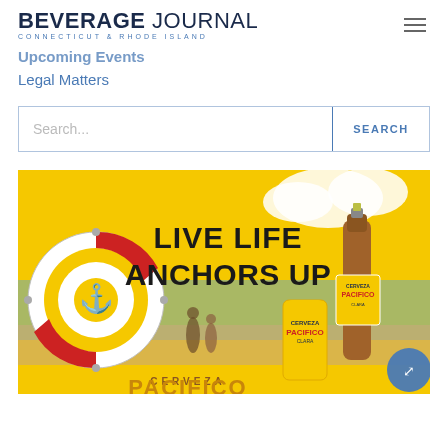BEVERAGE JOURNAL — CONNECTICUT & RHODE ISLAND
Upcoming Events
Legal Matters
Search...
[Figure (photo): Cerveza Pacifico beer advertisement. Yellow background with beach scene. Text reads: LIVE LIFE ANCHORS UP. Shows Pacifico beer can and bottle with life preserver ring logo.]